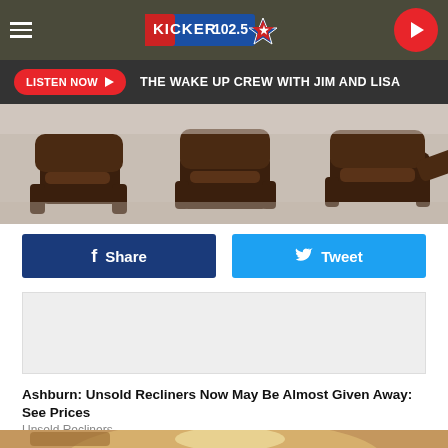KICKER 102.5 - The Wake Up Crew with Jim and Lisa
LISTEN NOW ▶  THE WAKE UP CREW WITH JIM AND LISA
[Figure (photo): Brown leather recliners displayed in a furniture showroom]
Share
Tweet
[Figure (other): Advertisement placeholder box]
Ashburn: Unsold Recliners Now May Be Almost Given Away: See Prices
Unsold Recliners
[Figure (illustration): Illustrated image of bread, soup bowl, and utensils on a table]